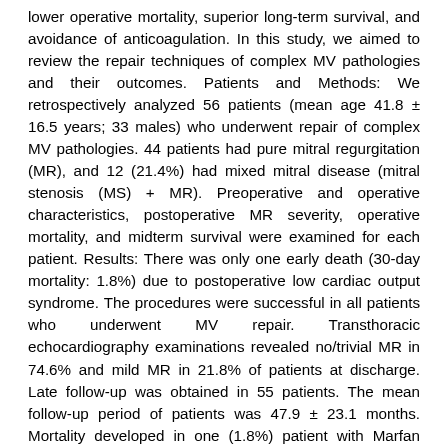lower operative mortality, superior long-term survival, and avoidance of anticoagulation. In this study, we aimed to review the repair techniques of complex MV pathologies and their outcomes. Patients and Methods: We retrospectively analyzed 56 patients (mean age 41.8 ± 16.5 years; 33 males) who underwent repair of complex MV pathologies. 44 patients had pure mitral regurgitation (MR), and 12 (21.4%) had mixed mitral disease (mitral stenosis (MS) + MR). Preoperative and operative characteristics, postoperative MR severity, operative mortality, and midterm survival were examined for each patient. Results: There was only one early death (30-day mortality: 1.8%) due to postoperative low cardiac output syndrome. The procedures were successful in all patients who underwent MV repair. Transthoracic echocardiography examinations revealed no/trivial MR in 74.6% and mild MR in 21.8% of patients at discharge. Late follow-up was obtained in 55 patients. The mean follow-up period of patients was 47.9 ± 23.1 months. Mortality developed in one (1.8%) patient with Marfan syndrome who had acute aortic dissection three years after MV surgery. During follow-up visits, mitral repair procedures were successful in 49 (90.7%) patients. Four (7.4%) patients presented with moderate MR. Only one (1.9%) patient needed reoperation because of severe MR. Conclusion: This study showed that repair of complex MV